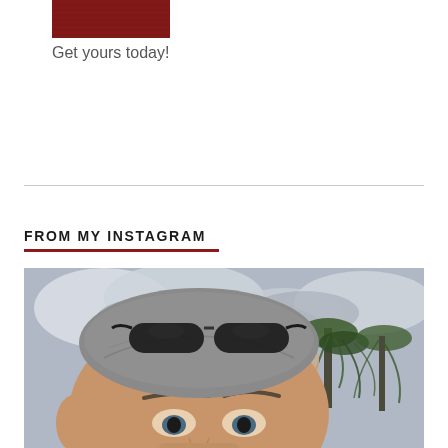[Figure (photo): Red book/product image cropped at top of page]
Get yours today!
FROM MY INSTAGRAM
[Figure (photo): Close-up selfie of a middle-aged man with grey hair and sunglasses on his head, outdoors with cloudy sky and willow trees in the background, buildings visible]